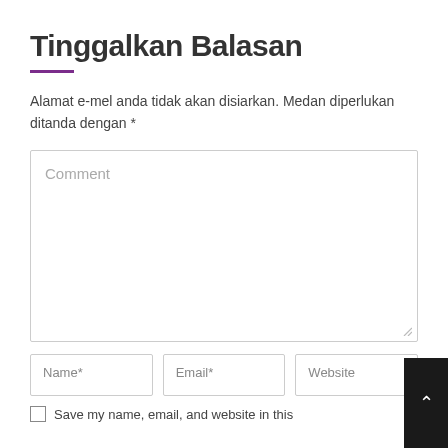Tinggalkan Balasan
Alamat e-mel anda tidak akan disiarkan. Medan diperlukan ditanda dengan *
[Figure (screenshot): Comment text area input box with placeholder text 'Comment' and resize handle at bottom right]
[Figure (screenshot): Three input fields in a row: Name*, Email*, Website]
Save my name, email, and website in this